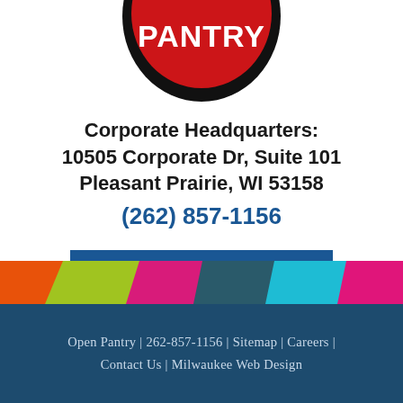[Figure (logo): Open Pantry logo — red oval with white text PANTRY on black oval background, partially cropped at top]
Corporate Headquarters:
10505 Corporate Dr, Suite 101
Pleasant Prairie, WI 53158
(262) 857-1156
SEND US A MESSAGE
[Figure (illustration): Colorful diagonal stripe banner with orange, lime green, magenta, dark teal, cyan, and magenta sections]
Open Pantry | 262-857-1156 | Sitemap | Careers | Contact Us | Milwaukee Web Design